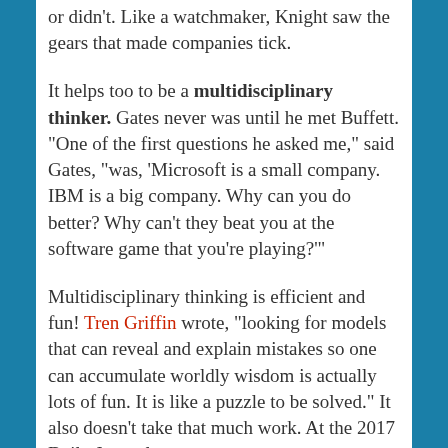or didn't. Like a watchmaker, Knight saw the gears that made companies tick.
It helps too to be a multidisciplinary thinker. Gates never was until he met Buffett. "One of the first questions he asked me," said Gates, "was, 'Microsoft is a small company. IBM is a big company. Why can you do better? Why can't they beat you at the software game that you're playing?'"
Multidisciplinary thinking is efficient and fun! Tren Griffin wrote, "looking for models that can reveal and explain mistakes so one can accumulate worldly wisdom is actually lots of fun. It is like a puzzle to be solved." It also doesn't take that much work. At the 2017 Daily Journal